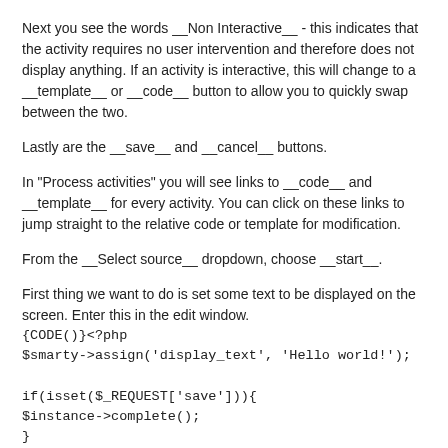Next you see the words __Non Interactive__ - this indicates that the activity requires no user intervention and therefore does not display anything. If an activity is interactive, this will change to a __template__ or __code__ button to allow you to quickly swap between the two.
Lastly are the __save__ and __cancel__ buttons.
In "Process activities" you will see links to __code__ and __template__ for every activity. You can click on these links to jump straight to the relative code or template for modification.
From the __Select source__ dropdown, choose __start__.
First thing we want to do is set some text to be displayed on the screen. Enter this in the edit window.
{CODE()}
$smarty->assign('display_text', 'Hello world!');

if(isset($_REQUEST['save'])){
$instance->complete();
}